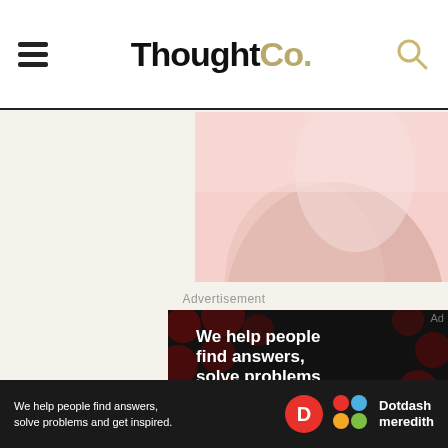ThoughtCo.
[Figure (photo): Partial view of a person's ear and cheek against a pink background]
Advertisement
[Figure (infographic): Dark advertisement banner with text: We help people find answers, solve problems and get inspired. LEARN MORE with Dotdash Meredith logo]
We help people find answers, solve problems and get inspired. Dotdash meredith